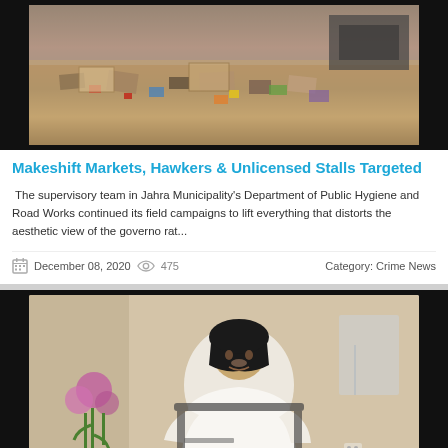[Figure (photo): Outdoor scene showing debris and trash scattered on sandy ground with a truck visible in background]
Makeshift Markets, Hawkers & Unlicensed Stalls Targeted
The supervisory team in Jahra Municipality's Department of Public Hygiene and Road Works continued its field campaigns to lift everything that distorts the aesthetic view of the governorat...
December 08, 2020   475   Category: Crime News
[Figure (photo): Video thumbnail showing a man in traditional white Gulf Arab dress (thobe and keffiyeh) seated in an office chair, with flowers visible in the background]